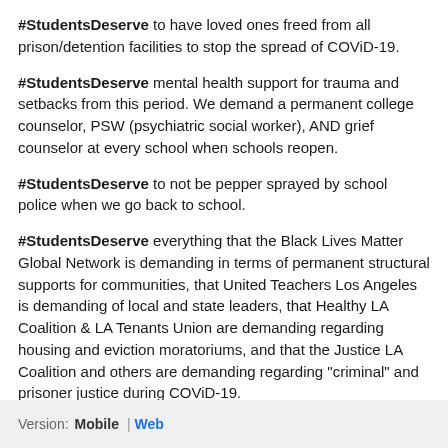#StudentsDeserve to have loved ones freed from all prison/detention facilities to stop the spread of COViD-19.
#StudentsDeserve mental health support for trauma and setbacks from this period. We demand a permanent college counselor, PSW (psychiatric social worker), AND grief counselor at every school when schools reopen.
#StudentsDeserve to not be pepper sprayed by school police when we go back to school.
#StudentsDeserve everything that the Black Lives Matter Global Network is demanding in terms of permanent structural supports for communities, that United Teachers Los Angeles is demanding of local and state leaders, that Healthy LA Coalition & LA Tenants Union are demanding regarding housing and eviction moratoriums, and that the Justice LA Coalition and others are demanding regarding "criminal" and prisoner justice during COViD-19.
Version: Mobile | Web